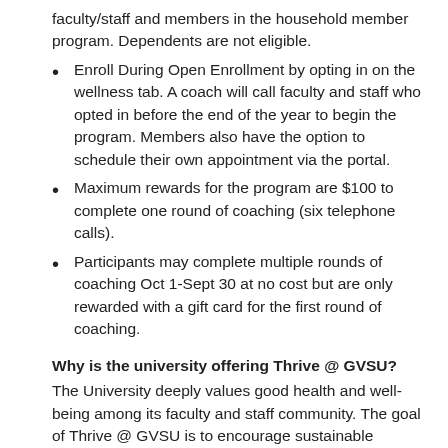faculty/staff and members in the household member program. Dependents are not eligible.
Enroll During Open Enrollment by opting in on the wellness tab. A coach will call faculty and staff who opted in before the end of the year to begin the program. Members also have the option to schedule their own appointment via the portal.
Maximum rewards for the program are $100 to complete one round of coaching (six telephone calls).
Participants may complete multiple rounds of coaching Oct 1-Sept 30 at no cost but are only rewarded with a gift card for the first round of coaching.
Why is the university offering Thrive @ GVSU?
The University deeply values good health and well-being among its faculty and staff community. The goal of Thrive @ GVSU is to encourage sustainable healthy